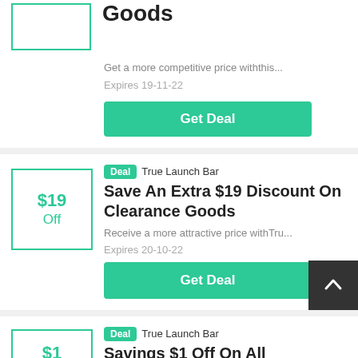Goods
Get a more competitive price withthis...
Expires 19-11-22
Get Deal
[Figure (other): Voucher box with $19 Off label]
Deal  True Launch Bar
Save An Extra $19 Discount On Clearance Goods
Receive a more attractive price withTru...
Expires 20-10-22
Get Deal
[Figure (other): Back to top button]
[Figure (other): Voucher box with $1 label]
Deal  True Launch Bar
Savings $1 Off On All